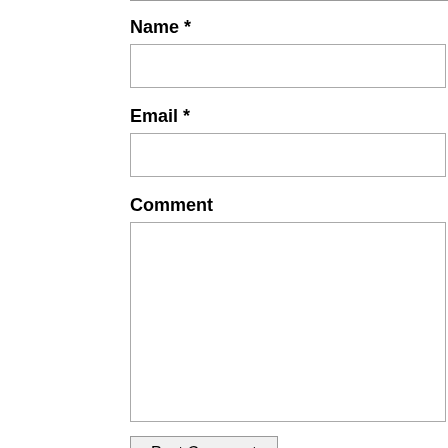Name *
Email *
Comment
Post Comment